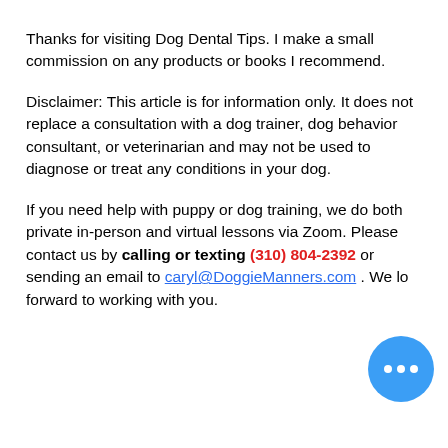Thanks for visiting Dog Dental Tips. I make a small commission on any products or books I recommend.
Disclaimer: This article is for information only. It does not replace a consultation with a dog trainer, dog behavior consultant, or veterinarian and may not be used to diagnose or treat any conditions in your dog.
If you need help with puppy or dog training, we do both private in-person and virtual lessons via Zoom. Please contact us by calling or texting (310) 804-2392 or sending an email to caryl@DoggieManners.com . We look forward to working with you.